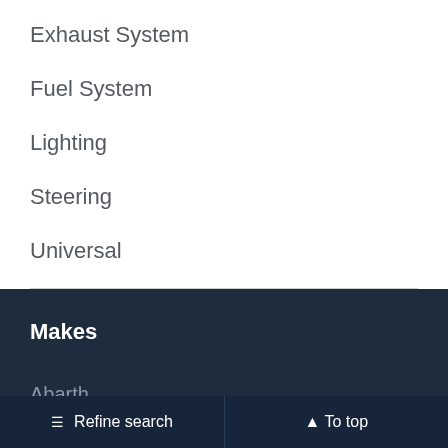Exhaust System
Fuel System
Lighting
Steering
Universal
Makes
Abarth
Aixam
☰ Refine search   ▲ To top